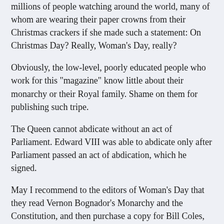millions of people watching around the world, many of whom are wearing their paper crowns from their Christmas crackers if she made such a statement:  On Christmas Day?  Really, Woman's Day, really?
Obviously, the low-level, poorly educated people who work for this "magazine" know little about their monarchy or their Royal family.  Shame on them for publishing such tripe.
The Queen cannot abdicate without an act of Parliament.   Edward VIII was able to abdicate only after Parliament passed an act of abdication, which he signed.
May I recommend to the editors of Woman's Day that they read Vernon Bognador's Monarchy and the Constitution, and then purchase a copy for Bill Coles, too.
So what will the editors do on Christmas Day, when they watch the Queen's speech. and she talks about peace and love and Christmas, and not about handing the throne to William.
Will they offer a public retraction of their misinformation.  Will they offer an apology to their readers?  They should be raising…